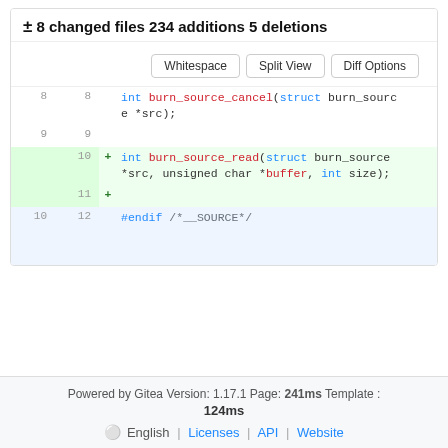± 8 changed files 234 additions 5 deletions
Whitespace | Split View | Diff Options
[Figure (screenshot): Code diff showing lines 8-12 of a C header file with burn_source functions, with lines 10 and 11 added (green highlight) showing int burn_source_read(struct burn_source *src, unsigned char *buffer, int size); and a blank added line, and line 12 showing #endif /*__SOURCE*/]
Powered by Gitea Version: 1.17.1 Page: 241ms Template : 124ms | English | Licenses | API | Website